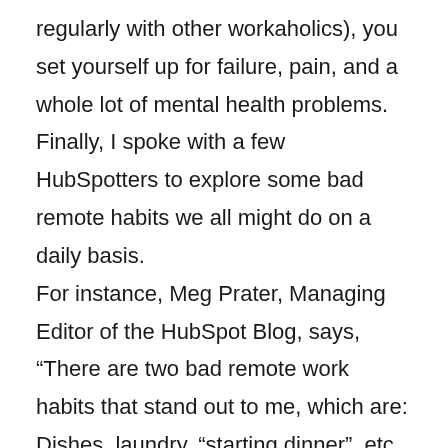regularly with other workaholics), you set yourself up for failure, pain, and a whole lot of mental health problems.
Finally, I spoke with a few HubSpotters to explore some bad remote habits we all might do on a daily basis.
For instance, Meg Prater, Managing Editor of the HubSpot Blog, says, “There are two bad remote work habits that stand out to me, which are:
Dishes, laundry, “starting dinner”, etc … It’s so easy to think you’ll just do one thing and an hour later, you’ve deep cleaned your entire closet. If you’re going to knock out some chores as a mental break,